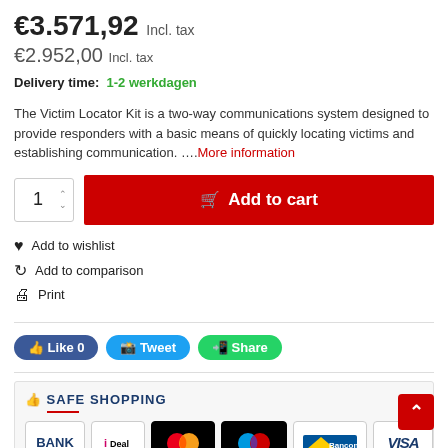€3.571,92 Incl. tax
€2.952,00 Incl. tax
Delivery time: 1-2 werkdagen
The Victim Locator Kit is a two-way communications system designed to provide responders with a basic means of quickly locating victims and establishing communication. ….More information
[Figure (screenshot): Add to cart button with quantity selector showing 1]
Add to wishlist
Add to comparison
Print
[Figure (infographic): Social sharing buttons: Like 0, Tweet, Share]
[Figure (infographic): Safe Shopping section with payment method icons: BANK, iDEAL, mastercard, maestro, Bancontact, VISA]